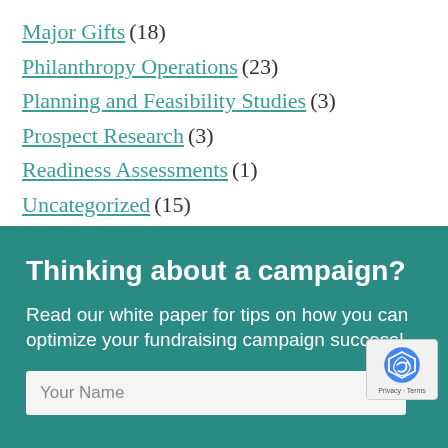Major Gifts (18)
Philanthropy Operations (23)
Planning and Feasibility Studies (3)
Prospect Research (3)
Readiness Assessments (1)
Uncategorized (15)
Thinking about a campaign?
Read our white paper for tips on how you can optimize your fundraising campaign success!